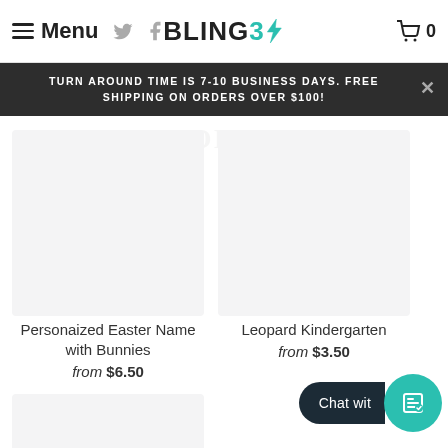Menu | BLING3 | Cart 0
TURN AROUND TIME IS 7-10 BUSINESS DAYS. FREE SHIPPING ON ORDERS OVER $100!
[Figure (photo): Product image placeholder for Personaized Easter Name with Bunnies]
Personaized Easter Name with Bunnies
from $6.50
[Figure (photo): Product image placeholder for Leopard Kindergarten]
Leopard Kindergarten
from $3.50
[Figure (photo): Partial product image placeholder, third product]
Chat wit